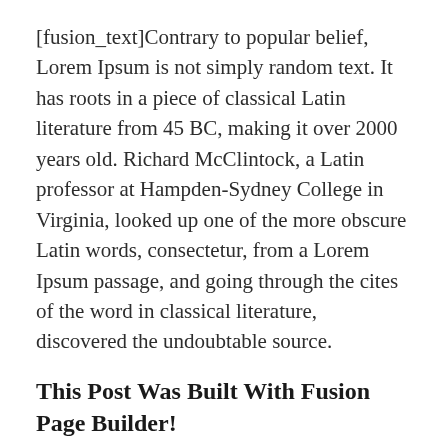[fusion_text]Contrary to popular belief, Lorem Ipsum is not simply random text. It has roots in a piece of classical Latin literature from 45 BC, making it over 2000 years old. Richard McClintock, a Latin professor at Hampden-Sydney College in Virginia, looked up one of the more obscure Latin words, consectetur, from a Lorem Ipsum passage, and going through the cites of the word in classical literature, discovered the undoubtable source.
This Post Was Built With Fusion Page Builder!
Lorem Ipsum comes from sections 1.10.32 and